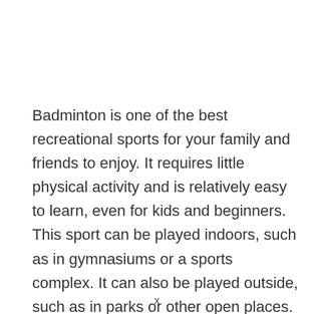Badminton is one of the best recreational sports for your family and friends to enjoy. It requires little physical activity and is relatively easy to learn, even for kids and beginners. This sport can be played indoors, such as in gymnasiums or a sports complex. It can also be played outside, such as in parks or other open places. To play, you only need a few things. Other than a partner to play with, you will only need two rackets and a shuttlecock.  If
x